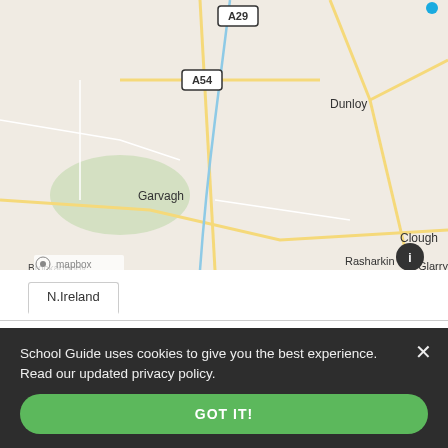[Figure (map): Mapbox map showing area of Northern Ireland including Garvagh, Dunloy, Brockaghboy or Glenclin, Kilrea, Rasharkin, Glarryford, Clough. Road labels A29 and A54 visible. Blue river runs through center.]
N.Ireland
Showing the 20 nearest secondary schools
State Schools
School Guide uses cookies to give you the best experience. Read our updated privacy policy.
GOT IT!